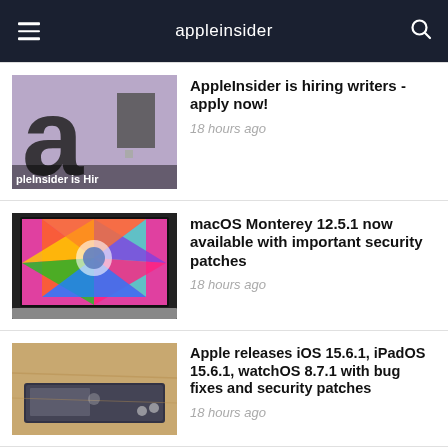appleinsider
[Figure (screenshot): AppleInsider logo thumbnail showing 'ai' letters and text 'pleInsider is Hir']
AppleInsider is hiring writers - apply now!
16 hours ago
[Figure (screenshot): MacBook screen showing colorful fractal/mandala artwork]
macOS Monterey 12.5.1 now available with important security patches
18 hours ago
[Figure (photo): Apple device on a wooden table surface]
Apple releases iOS 15.6.1, iPadOS 15.6.1, watchOS 8.7.1 with bug fixes and security patches
18 hours ago